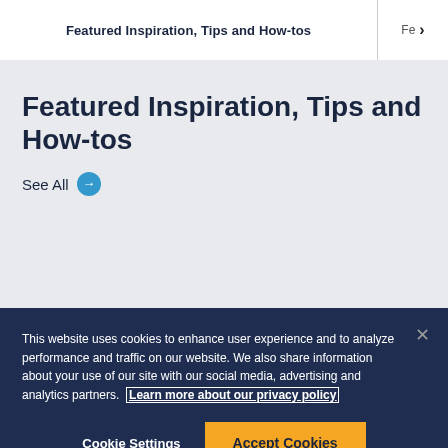Featured Inspiration, Tips and How-tos
Featured Inspiration, Tips and How-tos
See All
This website uses cookies to enhance user experience and to analyze performance and traffic on our website. We also share information about your use of our site with our social media, advertising and analytics partners. Learn more about our privacy policy
Cookie Settings
Accept Cookies